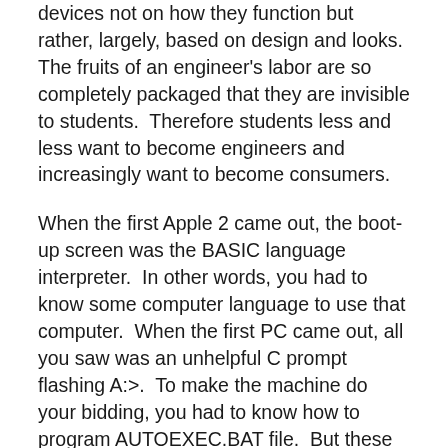devices not on how they function but rather, largely, based on design and looks. The fruits of an engineer's labor are so completely packaged that they are invisible to students. Therefore students less and less want to become engineers and increasingly want to become consumers.
When the first Apple 2 came out, the boot-up screen was the BASIC language interpreter. In other words, you had to know some computer language to use that computer. When the first PC came out, all you saw was an unhelpful C prompt flashing A:>. To make the machine do your bidding, you had to know how to program AUTOEXEC.BAT file. But these days, PCs and Macs work right out of the box. In becoming easier to use, these machines had their technologies become completely inaccessible. Students today don't have to know anything